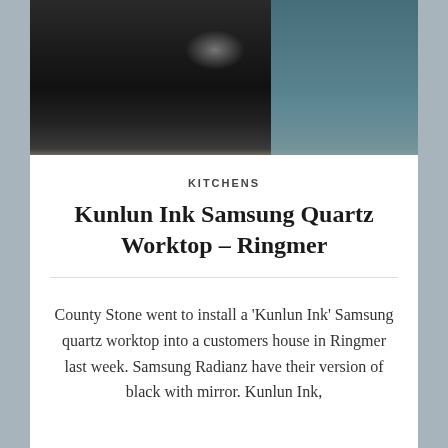[Figure (photo): Dark black quartz kitchen worktop/countertop with reflective surface, teal/blue cabinetry visible in the background, photographed in a kitchen setting]
KITCHENS
Kunlun Ink Samsung Quartz Worktop – Ringmer
County Stone went to install a ‘Kunlun Ink’ Samsung quartz worktop into a customers house in Ringmer last week. Samsung Radianz have their version of black with mirror. Kunlun Ink,